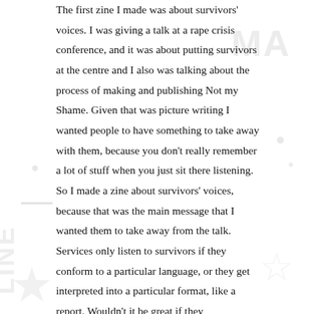The first zine I made was about survivors' voices. I was giving a talk at a rape crisis conference, and it was about putting survivors at the centre and I also was talking about the process of making and publishing Not my Shame. Given that was picture writing I wanted people to have something to take away with them, because you don't really remember a lot of stuff when you just sit there listening. So I made a zine about survivors' voices, because that was the main message that I wanted them to take away from the talk. Services only listen to survivors if they conform to a particular language, or they get interpreted into a particular format, like a report. Wouldn't it be great if they